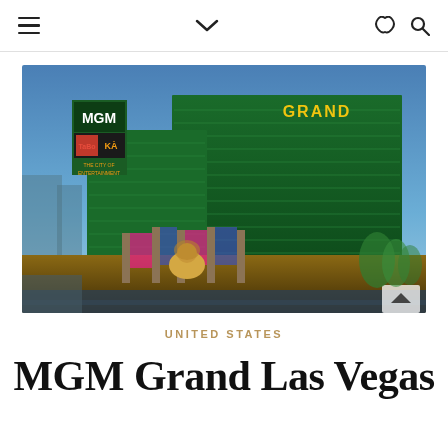≡  ∨  ☽ 🔍
[Figure (photo): Aerial view of MGM Grand Las Vegas hotel and casino at dusk, showing the large green glass tower buildings with MGM signage, the lion statue at entrance, colorful columns, and surrounding Las Vegas Strip area with blue sky]
UNITED STATES
MGM Grand Las Vegas